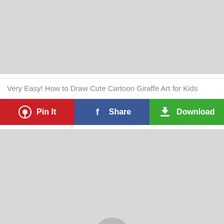[Figure (illustration): Gray placeholder area for a cartoon giraffe drawing image]
Very Easy! How to Draw Cute Cartoon Giraffe Art for Kids
[Figure (infographic): Three action buttons: Pin It (red, Pinterest icon), Share (blue, Facebook icon), Download (green, download icon)]
[Figure (illustration): Gray placeholder area for a second cartoon giraffe drawing image, with a partial circle shape visible at the bottom center]